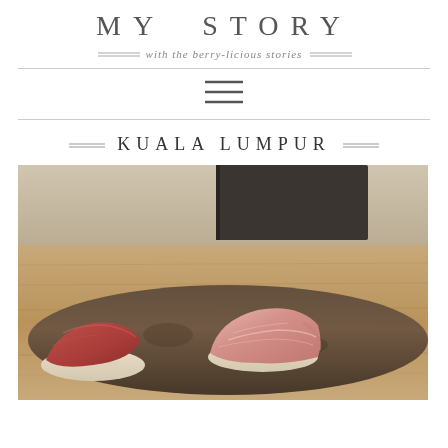MY STORY
with the berry-licious stories
[Figure (photo): Hamburger menu icon]
KUALA LUMPUR
[Figure (photo): Two pieces of nigiri sushi on a dark stone plate — one maguro (lean tuna) on the left and one otoro (fatty tuna) on the right, presented on a wooden counter]